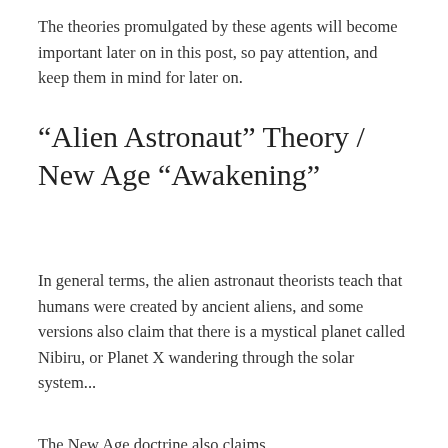The theories promulgated by these agents will become important later on in this post, so pay attention, and keep them in mind for later on.
“Alien Astronaut” Theory / New Age “Awakening”
In general terms, the alien astronaut theorists teach that humans were created by ancient aliens, and some versions also claim that there is a mystical planet called Nibiru, or Planet X wandering through the solar system...
The New Age doctrine also claims...